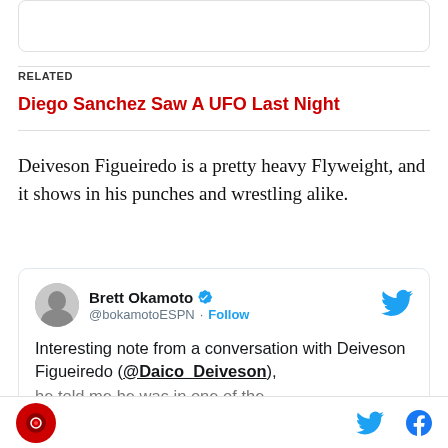RELATED
Diego Sanchez Saw A UFO Last Night
Deiveson Figueiredo is a pretty heavy Flyweight, and it shows in his punches and wrestling alike.
[Figure (screenshot): Embedded tweet from Brett Okamoto (@bokamotoESPN) with Twitter bird icon, avatar photo, Follow link, and tweet text: 'Interesting note from a conversation with Deiveson Figueiredo (@Daico_Deiveson),' with more text cut off below]
Site logo (red circle) on left, Twitter and Facebook social icons on right